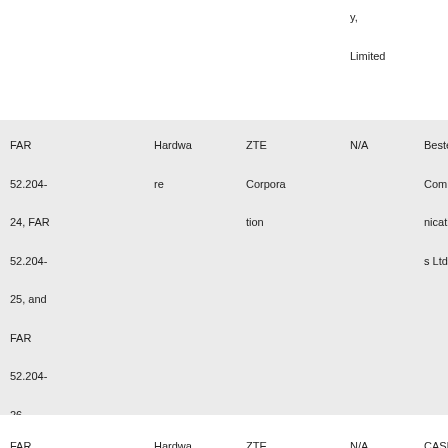|  |  |  | N/A |  |
| --- | --- | --- | --- | --- |
|  |  |  | y,

Limited |  |
| FAR 52.204-24, FAR 52.204-25, and FAR 52.204-26 | Hardware | ZTE Corporation | N/A | Bestel Communications Ltd. |
| FAR 52.204-24, FAR 52.204- | Hardware | ZTE Corporation | N/A | CASIC Shenzhen (Group) |